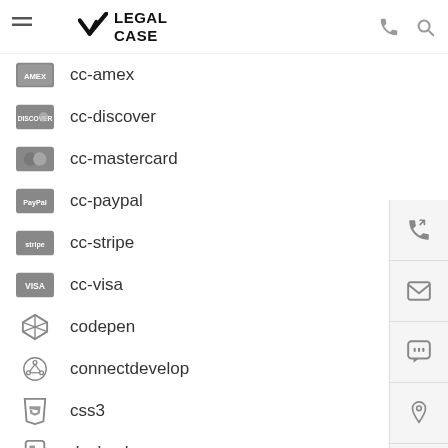LEGAL CASE
cc-amex
cc-discover
cc-mastercard
cc-paypal
cc-stripe
cc-visa
codepen
connectdevelop
css3
dashcube
delicious
deviantart